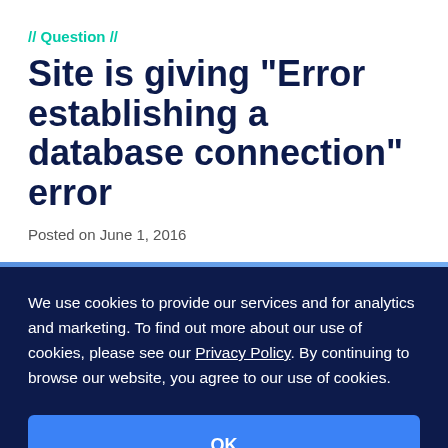// Question //
Site is giving "Error establishing a database connection" error
Posted on June 1, 2016
We use cookies to provide our services and for analytics and marketing. To find out more about our use of cookies, please see our Privacy Policy. By continuing to browse our website, you agree to our use of cookies.
OK